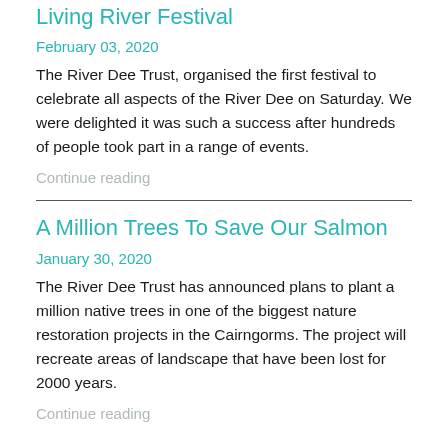Living River Festival
February 03, 2020
The River Dee Trust, organised the first festival to celebrate all aspects of the River Dee on Saturday. We were delighted it was such a success after hundreds of people took part in a range of events.
Continue reading
A Million Trees To Save Our Salmon
January 30, 2020
The River Dee Trust has announced plans to plant a million native trees in one of the biggest nature restoration projects in the Cairngorms. The project will recreate areas of landscape that have been lost for 2000 years.
Continue reading